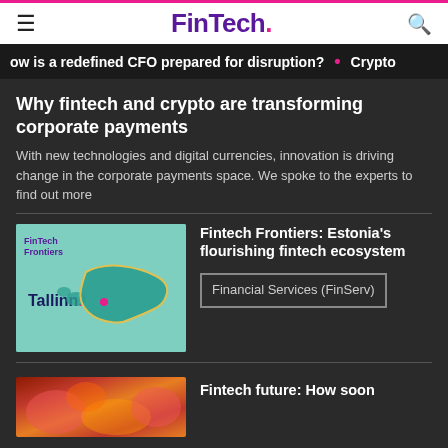FinTech.
ow is a redefined CFO prepared for disruption? • Crypto
Why fintech and crypto are transforming corporate payments
With new technologies and digital currencies, innovation is driving change in the corporate payments space. We spoke to the experts to find out more
[Figure (illustration): FinTech Frontiers cover image showing a map of Estonia with Tallinn labeled, teal/mint background]
Fintech Frontiers: Estonia's flourishing fintech ecosystem
Financial Services (FinServ)
[Figure (photo): Abstract orange/red fire or flame background image]
Fintech future: How soon